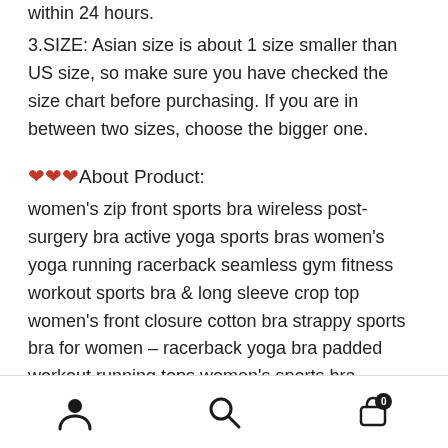within 24 hours.
3.SIZE: Asian size is about 1 size smaller than US size, so make sure you have checked the size chart before purchasing. If you are in between two sizes, choose the bigger one.
❤❤❤About Product:
women's zip front sports bra wireless post-surgery bra active yoga sports bras women's yoga running racerback seamless gym fitness workout sports bra & long sleeve crop top women's front closure cotton bra strappy sports bra for women – racerback yoga bra padded workout running tops women's sports bra compression workout fitness gym removable padded activewear yoga running bras women's sports bras pack workout bras padded bras
navigation icons: user, search, cart (0)